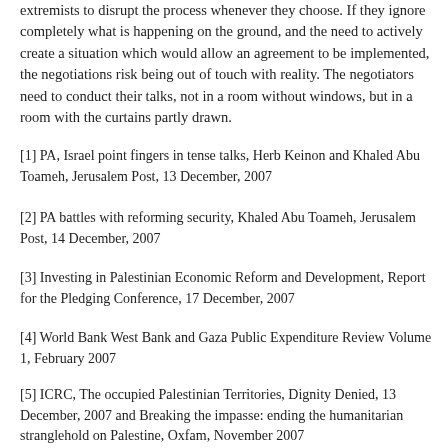extremists to disrupt the process whenever they choose. If they ignore completely what is happening on the ground, and the need to actively create a situation which would allow an agreement to be implemented, the negotiations risk being out of touch with reality. The negotiators need to conduct their talks, not in a room without windows, but in a room with the curtains partly drawn.
[1] PA, Israel point fingers in tense talks, Herb Keinon and Khaled Abu Toameh, Jerusalem Post, 13 December, 2007
[2] PA battles with reforming security, Khaled Abu Toameh, Jerusalem Post, 14 December, 2007
[3] Investing in Palestinian Economic Reform and Development, Report for the Pledging Conference, 17 December, 2007
[4] World Bank West Bank and Gaza Public Expenditure Review Volume 1, February 2007
[5] ICRC, The occupied Palestinian Territories, Dignity Denied, 13 December, 2007 and Breaking the impasse: ending the humanitarian stranglehold on Palestine, Oxfam, November 2007